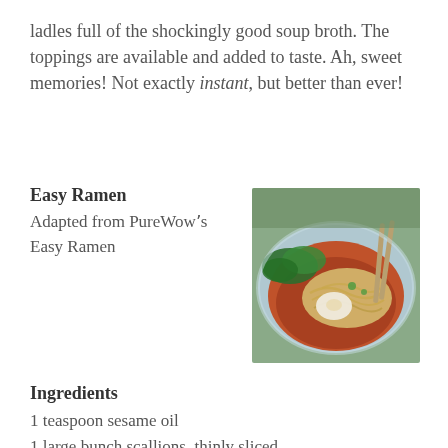ladles full of the shockingly good soup broth.  The toppings are available and added to taste.  Ah, sweet memories!  Not exactly instant, but better than ever!
Easy Ramen
Adapted from PureWow's Easy Ramen
[Figure (photo): Bowl of ramen with noodles, poached egg, leafy greens in red broth]
Ingredients
1 teaspoon sesame oil
1 large bunch scallions, thinly sliced
1 large garlic clove, minced
½-inch piece ginger, minced
1 teaspoon ground coriander
½ teaspoon curry powder
2 teaspoons Sriracha, or more to taste